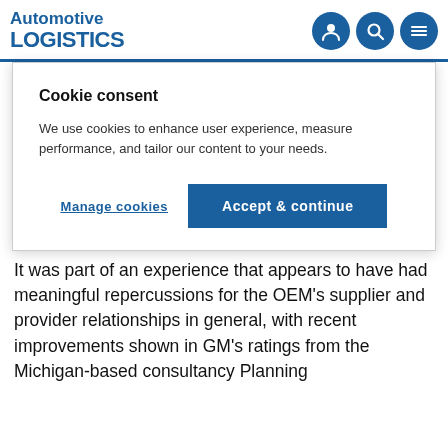Automotive LOGISTICS
Cookie consent
We use cookies to enhance user experience, measure performance, and tailor our content to your needs.
Manage cookies   Accept & continue
across GM's various organisations and included the analysis of every supplier contract from the bankrupt company to decide which were going to be moved to the new entity, all the while ensuring that production and deliveries were not interrupted. She and her team set up a call centre that was open 24/7 for the first three weeks.
It was part of an experience that appears to have had meaningful repercussions for the OEM's supplier and provider relationships in general, with recent improvements shown in GM's ratings from the Michigan-based consultancy Planning